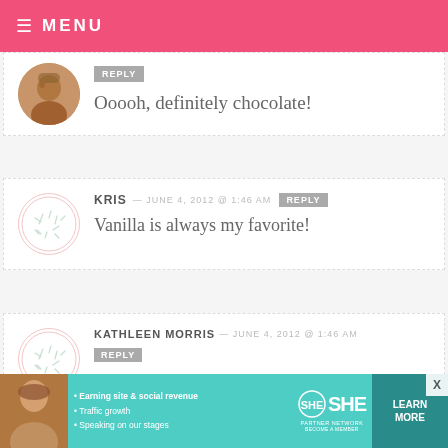≡ MENU
Ooooh, definitely chocolate!
KRIS — JUNE 4, 2012 @ 1:46 AM  REPLY
Vanilla is always my favorite!
KATHLEEN MORRIS — JUNE 4, 2012 @ 1:46 AM  REPLY
CHOCOLATE....
[Figure (infographic): SHE Partner Network advertisement banner with photo of woman and bullet points: Earning site & social revenue, Traffic growth, Speaking on our stages. LEARN MORE button.]